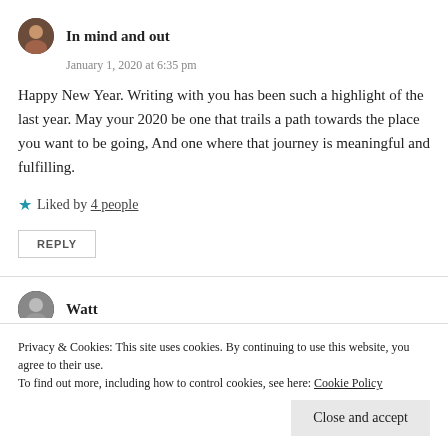In mind and out
January 1, 2020 at 6:35 pm
Happy New Year. Writing with you has been such a highlight of the last year. May your 2020 be one that trails a path towards the place you want to be going, And one where that journey is meaningful and fulfilling.
★ Liked by 4 people
REPLY
Watt
thru which you pour forth your soulinto livers or
Privacy & Cookies: This site uses cookies. By continuing to use this website, you agree to their use.
To find out more, including how to control cookies, see here: Cookie Policy
Close and accept